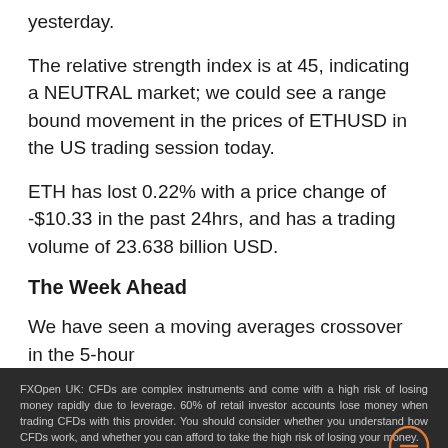yesterday.
The relative strength index is at 45, indicating a NEUTRAL market; we could see a range bound movement in the prices of ETHUSD in the US trading session today.
ETH has lost 0.22% with a price change of -$10.33 in the past 24hrs, and has a trading volume of 23.638 billion USD.
The Week Ahead
We have seen a moving averages crossover in the 5-hour
FXOpen UK: CFDs are complex instruments and come with a high risk of losing money rapidly due to leverage. 60% of retail investor accounts lose money when trading CFDs with this provider. You should consider whether you understand how CFDs work, and whether you can afford to take the high risk of losing your money. FXOpen EU: CFDs are complex instruments and come with a high risk of losing money rapidly due to leverage. 81% of retail investor accounts lose money when trading CFDs with this provider. You should consider whether you understand how CFDs work, and whether you can afford to take the high risk of losing your money.